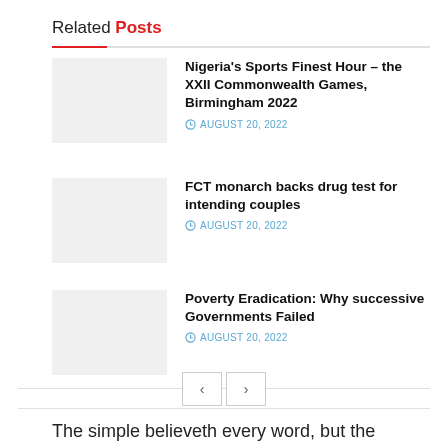Related Posts
Nigeria's Sports Finest Hour – the XXII Commonwealth Games, Birmingham 2022 | AUGUST 20, 2022
FCT monarch backs drug test for intending couples | AUGUST 20, 2022
Poverty Eradication: Why successive Governments Failed | AUGUST 20, 2022
The simple believeth every word, but the prudent man looketh well into his goings, (Prov.14:15).